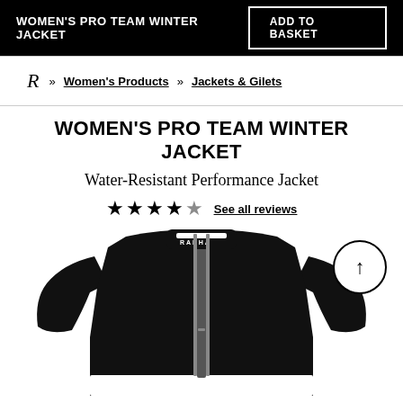WOMEN'S PRO TEAM WINTER JACKET | ADD TO BASKET
R » Women's Products » Jackets & Gilets
WOMEN'S PRO TEAM WINTER JACKET
Water-Resistant Performance Jacket
★★★★★ See all reviews
[Figure (photo): Black Rapha women's pro team winter jacket with full-length zipper and white collar detail, shown on a white background. Rapha logo visible on collar.]